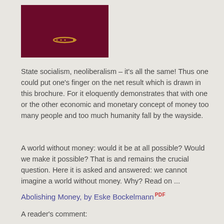[Figure (illustration): Dark maroon/crimson colored rectangular image with a small yellow-orange arrow icon in the lower center area]
State socialism, neoliberalism – it's all the same! Thus one could put one's finger on the net result which is drawn in this brochure. For it eloquently demonstrates that with one or the other economic and monetary concept of money too many people and too much humanity fall by the wayside.
A world without money: would it be at all possible? Would we make it possible? That is and remains the crucial question. Here it is asked and answered: we cannot imagine a world without money. Why? Read on ...
Abolishing Money, by Eske Bockelmann PDF
A reader's comment: